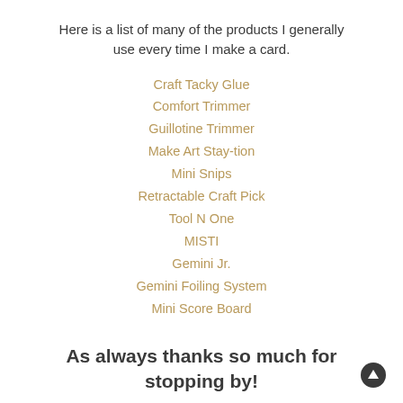Here is a list of many of the products I generally use every time I make a card.
Craft Tacky Glue
Comfort Trimmer
Guillotine Trimmer
Make Art Stay-tion
Mini Snips
Retractable Craft Pick
Tool N One
MISTI
Gemini Jr.
Gemini Foiling System
Mini Score Board
As always thanks so much for stopping by!